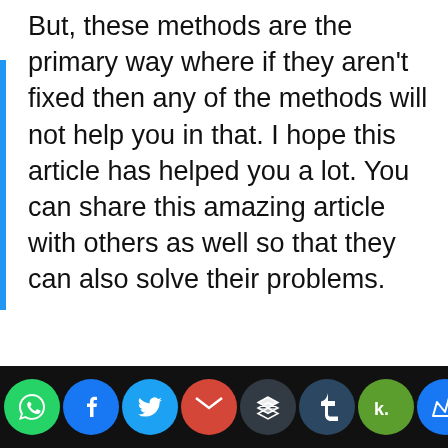But, these methods are the primary way where if they aren't fixed then any of the methods will not help you in that. I hope this article has helped you a lot. You can share this amazing article with others as well so that they can also solve their problems.
Was this article helpful? Yes No
CrazyTechTricks uses cookies to ensure you get the best experience on the website.
Know more
OKAY
[Figure (other): Social sharing icons bar at bottom: WhatsApp (green), Facebook (blue), Twitter (light blue), Gmail (red), Buffer (dark), Tumblr (dark blue), Kred (green), Crown (blue)]